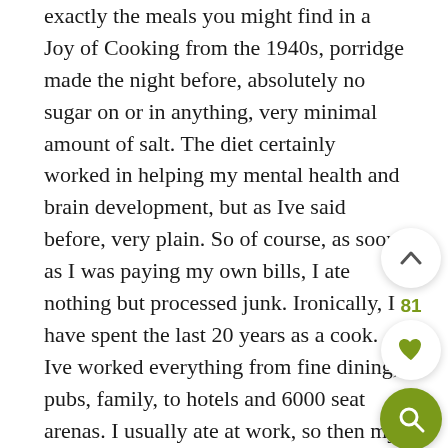exactly the meals you might find in a Joy of Cooking from the 1940s, porridge made the night before, absolutely no sugar on or in anything, very minimal amount of salt. The diet certainly worked in helping my mental health and brain development, but as Ive said before, very plain. So of course, as soon as I was paying my own bills, I ate nothing but processed junk. Ironically, I have spent the last 20 years as a cook. Ive worked everything from fine dining, pubs, family, to hotels and 6000 seat arenas. I usually ate at work, so then my meals were less processed, but still pretty high in fat and sodium. When I retired to look after my son (I am now on disability and may never cook professionally aga I realized after years of seeing your blog posts on fb, that your website might just be exactly what the doctor ordered. I believed can help us both with